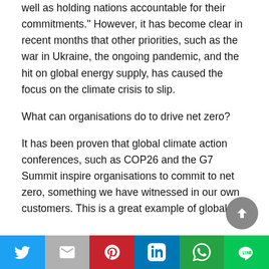well as holding nations accountable for their commitments." However, it has become clear in recent months that other priorities, such as the war in Ukraine, the ongoing pandemic, and the hit on global energy supply, has caused the focus on the climate crisis to slip.
What can organisations do to drive net zero?
It has been proven that global climate action conferences, such as COP26 and the G7 Summit inspire organisations to commit to net zero, something we have witnessed in our own customers. This is a great example of global
[Figure (other): Social media sharing bar with icons for Twitter, Gmail/Email, Pinterest, LinkedIn, WhatsApp, and Line]